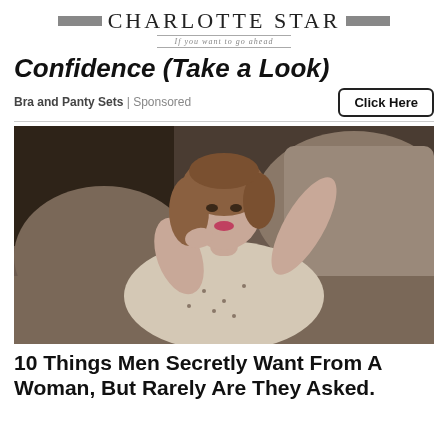Charlotte Star — If you want to go ahead
Confidence (Take a Look)
Bra and Panty Sets | Sponsored    [Click Here]
[Figure (photo): Young woman with brown hair lying on a gray sofa/couch, wearing a floral dress, looking at camera]
10 Things Men Secretly Want From A Woman, But Rarely Are They Asked.